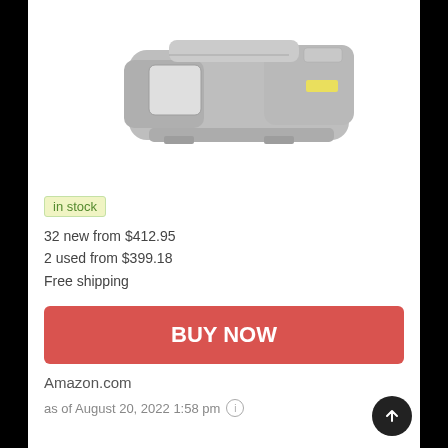[Figure (photo): Gray tactical holographic/red dot sight optic product photo on white background, partially cropped showing the top and right side of the device]
in stock
32 new from $412.95
2 used from $399.18
Free shipping
BUY NOW
Amazon.com
as of August 20, 2022 1:58 pm ⓘ